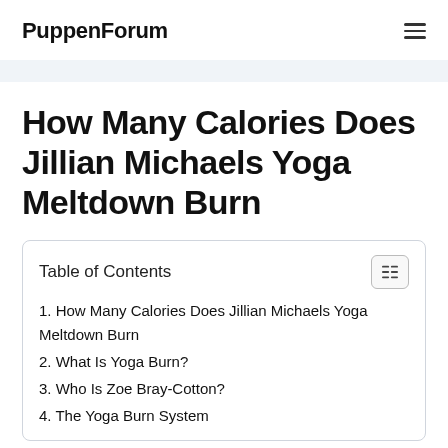PuppenForum
How Many Calories Does Jillian Michaels Yoga Meltdown Burn
Table of Contents
1. How Many Calories Does Jillian Michaels Yoga Meltdown Burn
2. What Is Yoga Burn?
3. Who Is Zoe Bray-Cotton?
4. The Yoga Burn System